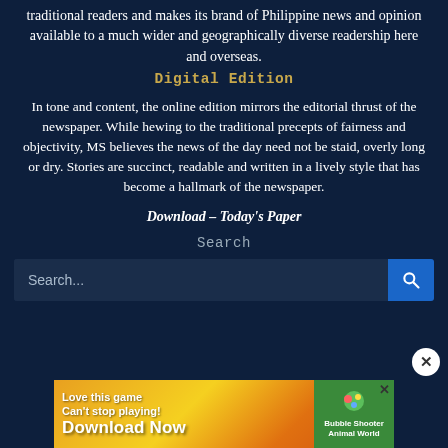traditional readers and makes its brand of Philippine news and opinion available to a much wider and geographically diverse readership here and overseas.
Digital Edition
In tone and content, the online edition mirrors the editorial thrust of the newspaper. While hewing to the traditional precepts of fairness and objectivity, MS believes the news of the day need not be staid, overly long or dry. Stories are succinct, readable and written in a lively style that has become a hallmark of the newspaper.
Download – Today's Paper
Search
[Figure (screenshot): Search input bar with blue search button icon on the right]
[Figure (screenshot): Advertisement banner: 'Love this game Can't stop playing! Download Now' with Bubble Shooter Animal World game badge and close X button]